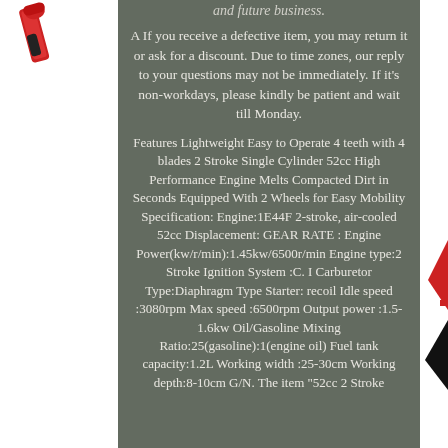[Figure (illustration): Red and black power tool (drill or tiller handle) shown top-left corner]
and future business.
A If you receive a defective item, you may return it or ask for a discount. Due to time zones, our reply to your questions may not be immediately. If it's non-workdays, please kindly be patient and wait till Monday.
Features Lightweight Easy to Operate 4 teeth with 4 blades 2 Stroke Single Cylinder 52cc High Performance Engine Melts Compacted Dirt in Seconds Equipped With 2 Wheels for Easy Mobility Specification: Engine:1E44F 2-stroke, air-cooled 52cc Displacement: GEAR RATE : Engine Power(kw/r/min):1.45kw/6500r/min Engine type:2 Stroke Ignition System :C. I Carburetor Type:Diaphragm Type Starter: recoil Idle speed :3080rpm Max speed :6500rpm Output power :1.5-1.6kw Oil/Gasoline Mixing Ratio:25(gasoline):1(engine oil) Fuel tank capacity:1.2L Working width :25-30cm Working depth:8-10cm G/N. The item "52cc 2 Stroke
[Figure (illustration): Red and black decorative elements on the right side margin]